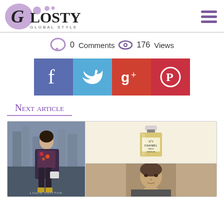Glosty Global Style - logo and navigation
0 Comments  176 Views
[Figure (infographic): Social sharing buttons: Facebook, Twitter, Google+, Pinterest]
Next article
[Figure (photo): Article preview image collage: Louis Vuitton fashion ad with woman, Chanel No.5 perfume bottle, portrait photo of a man]